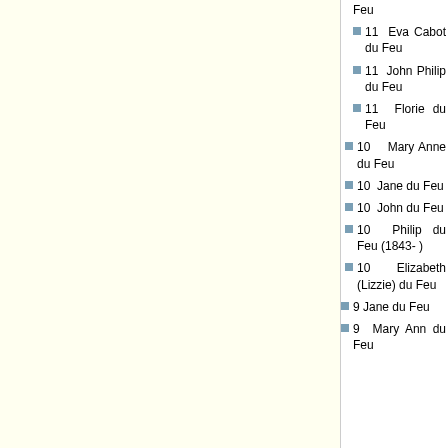11 Eva Cabot du Feu
11 John Philip du Feu
11 Florie du Feu
10 Mary Anne du Feu
10 Jane du Feu
10 John du Feu
10 Philip du Feu (1843- )
10 Elizabeth (Lizzie) du Feu
9 Jane du Feu
9 Mary Ann du Feu